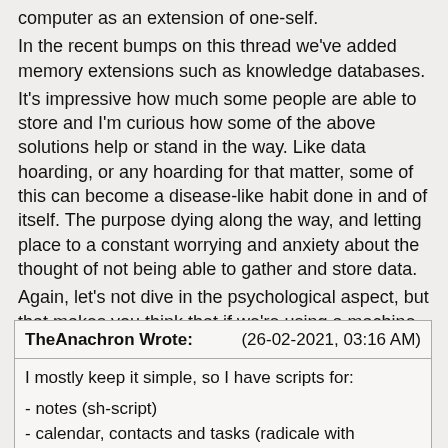computer as an extension of one-self.
In the recent bumps on this thread we've added memory extensions such as knowledge databases.
It's impressive how much some people are able to store and I'm curious how some of the above solutions help or stand in the way. Like data hoarding, or any hoarding for that matter, some of this can become a disease-like habit done in and of itself. The purpose dying along the way, and letting place to a constant worrying and anxiety about the thought of not being able to gather and store data.
Again, let's not dive in the psychological aspect, but that makes you think that if we're using a machine as an extension of ourself then that's similar to worrying about losing a limb, something that makes you you.
| Author | Date |
| --- | --- |
| TheAnachron Wrote: | (26-02-2021, 03:16 AM) |
| I mostly keep it simple, so I have scripts for: |  |
| - notes (sh-script) |  |
| - calendar, contacts and tasks (radicale with khal/khard and |  |
notes (sh-script)
calendar, contacts and tasks (radicale with khal/khard and